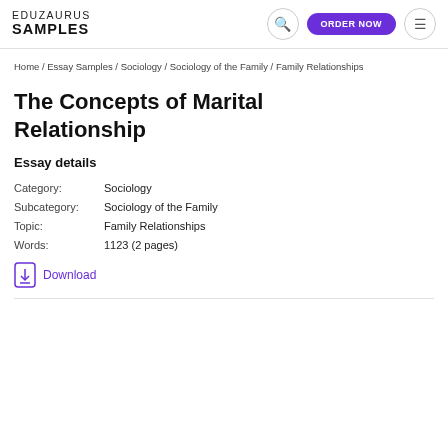EDUZAURUS SAMPLES
Home / Essay Samples / Sociology / Sociology of the Family / Family Relationships
The Concepts of Marital Relationship
Essay details
| Field | Value |
| --- | --- |
| Category: | Sociology |
| Subcategory: | Sociology of the Family |
| Topic: | Family Relationships |
| Words: | 1123 (2 pages) |
Download